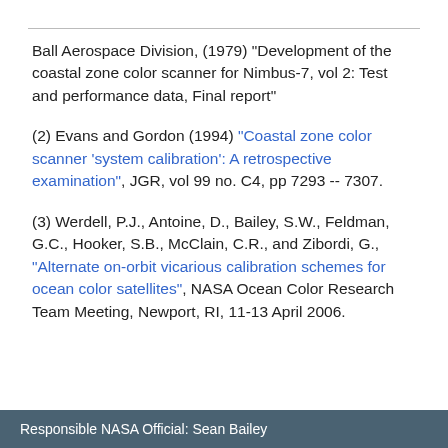Ball Aerospace Division, (1979) "Development of the coastal zone color scanner for Nimbus-7, vol 2: Test and performance data, Final report"
(2) Evans and Gordon (1994) "Coastal zone color scanner 'system calibration': A retrospective examination", JGR, vol 99 no. C4, pp 7293 -- 7307.
(3) Werdell, P.J., Antoine, D., Bailey, S.W., Feldman, G.C., Hooker, S.B., McClain, C.R., and Zibordi, G., "Alternate on-orbit vicarious calibration schemes for ocean color satellites", NASA Ocean Color Research Team Meeting, Newport, RI, 11-13 April 2006.
Responsible NASA Official: Sean Bailey